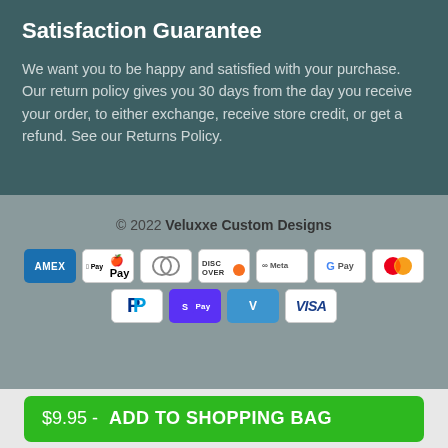Satisfaction Guarantee
We want you to be happy and satisfied with your purchase. Our return policy gives you 30 days from the day you receive your order, to either exchange, receive store credit, or get a refund. See our Returns Policy.
© 2022 Veluxxe Custom Designs
[Figure (infographic): Payment method icons: Amex, Apple Pay, Diners Club, Discover, Meta, Google Pay, Mastercard, PayPal, Shop Pay, Venmo, Visa]
$9.95 - ADD TO SHOPPING BAG